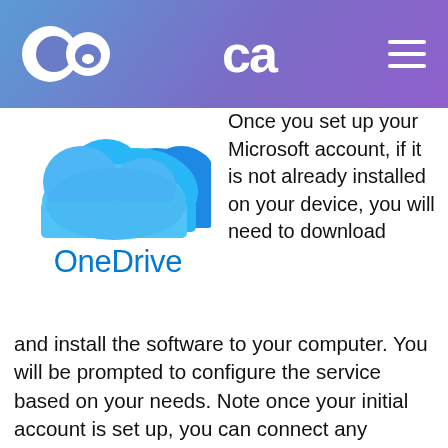CA [logo] [hamburger menu]
[Figure (logo): OneDrive cloud logo with blue layered cloud icon and 'OneDrive' wordmark in blue below]
Once you set up your Microsoft account, if it is not already installed on your device, you will need to download and install the software to your computer. You will be prompted to configure the service based on your needs. Note once your initial account is set up, you can connect any number of other devices, such as phones, tablets, and laptops with OneDrive, through the Microsoft Store, Google Play, or Apple App Store